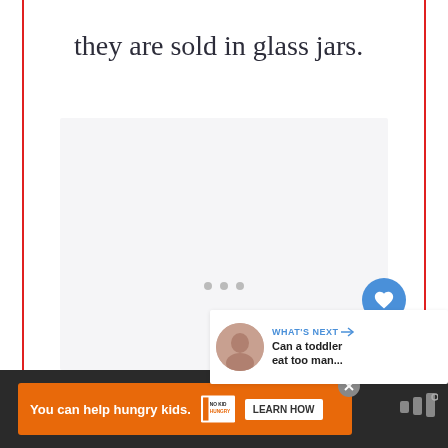they are sold in glass jars.
[Figure (photo): Large light gray image placeholder area with floating heart and share buttons, and a 'What's Next' panel showing a thumbnail and text 'Can a toddler eat too man...']
You can help hungry kids. | NO KID HUNGRY | LEARN HOW